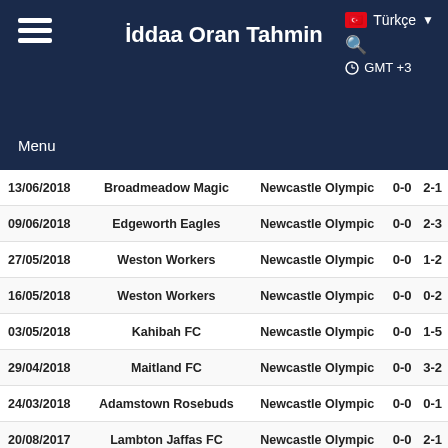İddaa Oran Tahmin | Menu | Türkçe | GMT +3
| Date | Home | Away | HT | FT |
| --- | --- | --- | --- | --- |
| 13/06/2018 | Broadmeadow Magic | Newcastle Olympic | 0-0 | 2-1 |
| 09/06/2018 | Edgeworth Eagles | Newcastle Olympic | 0-0 | 2-3 |
| 27/05/2018 | Weston Workers | Newcastle Olympic | 0-0 | 1-2 |
| 16/05/2018 | Weston Workers | Newcastle Olympic | 0-0 | 0-2 |
| 03/05/2018 | Kahibah FC | Newcastle Olympic | 0-0 | 1-5 |
| 29/04/2018 | Maitland FC | Newcastle Olympic | 0-0 | 3-2 |
| 24/03/2018 | Adamstown Rosebuds | Newcastle Olympic | 0-0 | 0-1 |
| 20/08/2017 | Lambton Jaffas FC | Newcastle Olympic | 0-0 | 2-1 |